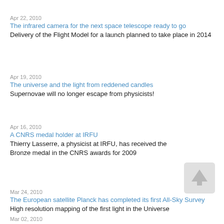Apr 22, 2010
The infrared camera for the next space telescope ready to go
Delivery of the Flight Model for a launch planned to take place in 2014
Apr 19, 2010
The universe and the light from reddened candles
Supernovae will no longer escape from physicists!
Apr 16, 2010
A CNRS medal holder at IRFU
Thierry Lasserre, a physicist at IRFU, has received the Bronze medal in the CNRS awards for 2009
[Figure (other): Scroll up button icon with upward arrow]
Mar 24, 2010
The European satellite Planck has completed its first All-Sky Survey
High resolution mapping of the first light in the Universe
Mar 02, 2010